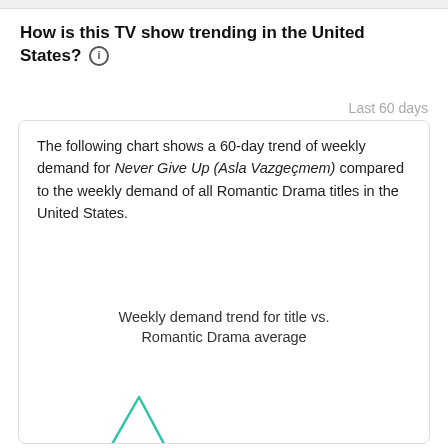How is this TV show trending in the United States? ℹ
Last 60 days
The following chart shows a 60-day trend of weekly demand for Never Give Up (Asla Vazgeçmem) compared to the weekly demand of all Romantic Drama titles in the United States.
Weekly demand trend for title vs. Romantic Drama average
[Figure (line-chart): Line chart showing two lines: one teal line for the title Never Give Up (Asla Vazgeçmem) and one for Romantic Drama average, over the last 60 days. The title line shows a peak in the middle then drops and stabilizes. The average line is relatively flat with a slight rise then decline.]